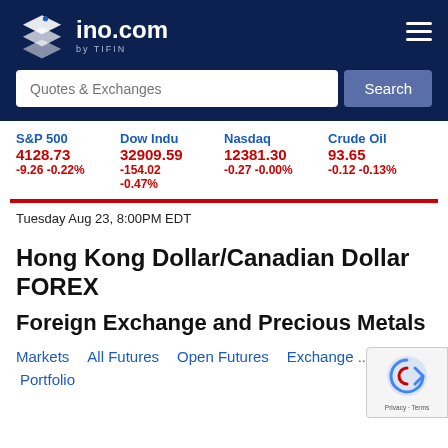ino.com by TIFIN
Quotes & Exchanges — Search bar
S&P 500 4128.73 -9.26 -0.22%
Dow Indu 32909.59 -154.02 -0.47%
Nasdaq 12381.30 -0.27 -0.00%
Crude Oil 93.65 -0.12 -0.13%
Tuesday Aug 23, 8:00PM EDT
Hong Kong Dollar/Canadian Dollar FOREX
Foreign Exchange and Precious Metals
Markets   All Futures   Open Futures   Exchange ...
Portfolio